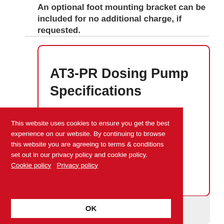An optional foot mounting bracket can be included for no additional charge, if requested.
AT3-PR Dosing Pump Specifications
This website uses cookies to ensure you get the best experience on our website. By continuing to browse this website you are agreeing to terms & conditions set out in our privacy policy and cookie policy. Cookie policy   Privacy policy
OK